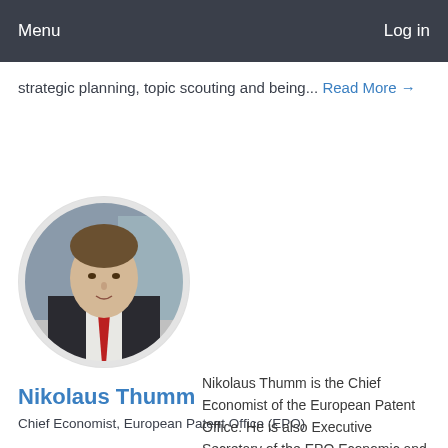Menu   Log in
strategic planning, topic scouting and being... Read More →
[Figure (photo): Circular profile photo of Nikolaus Thumm, a man in a dark suit with a red tie, photographed outdoors.]
Nikolaus Thumm
Chief Economist, European Patent Office (EPO)
Nikolaus Thumm is the Chief Economist of the European Patent Office. He is also Executive Secretary of the EPO Economic and Scientific Advisory Board. Prior to joining the EPO Mr. Thumm was working as